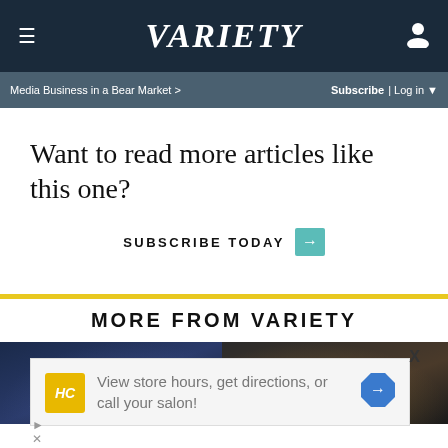≡  VARIETY  👤
Media Business in a Bear Market >   Subscribe | Log in ▼
Want to read more articles like this one?
SUBSCRIBE TODAY →
MORE FROM VARIETY
[Figure (photo): Two dark editorial photos side by side showing entertainment/media subjects]
View store hours, get directions, or call your salon!